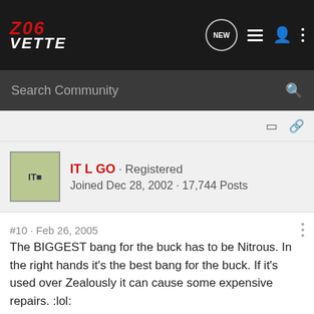[Figure (logo): Z06 Vette forum logo with navigation icons including NEW chat bubble, list view, user profile, and more options dots]
Search Community
IT L GO · Registered
Joined Dec 28, 2002 · 17,744 Posts
#10 · Feb 26, 2005
The BIGGEST bang for the buck has to be Nitrous. In the right hands it's the best bang for the buck. If it's used over Zealously it can cause some expensive repairs. :lol:

The best is Headers and Air intake :thumb:

.